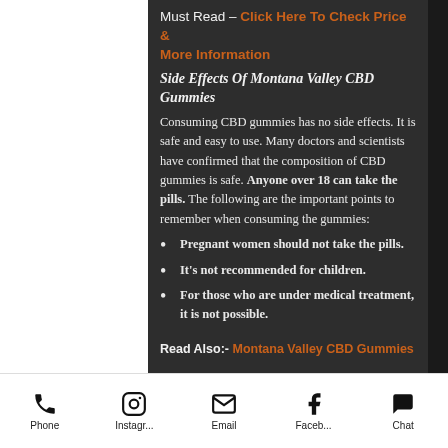Must Read – Click Here To Check Price & More Information
Side Effects Of Montana Valley CBD Gummies
Consuming CBD gummies has no side effects. It is safe and easy to use. Many doctors and scientists have confirmed that the composition of CBD gummies is safe. Anyone over 18 can take the pills. The following are the important points to remember when consuming the gummies:
Pregnant women should not take the pills.
It's not recommended for children.
For those who are under medical treatment, it is not possible.
Read Also:- Montana Valley CBD Gummies
Phone | Instagram | Email | Facebook | Chat